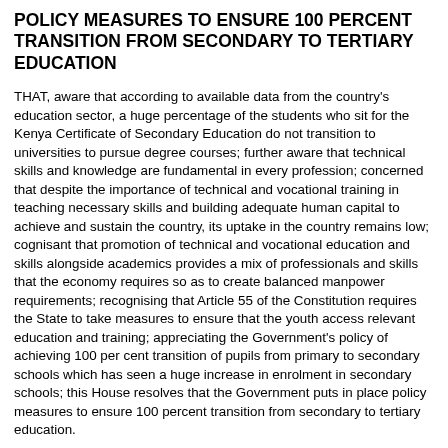POLICY MEASURES TO ENSURE 100 PERCENT TRANSITION FROM SECONDARY TO TERTIARY EDUCATION
THAT, aware that according to available data from the country's education sector, a huge percentage of the students who sit for the Kenya Certificate of Secondary Education do not transition to universities to pursue degree courses; further aware that technical skills and knowledge are fundamental in every profession; concerned that despite the importance of technical and vocational training in teaching necessary skills and building adequate human capital to achieve and sustain the country, its uptake in the country remains low; cognisant that promotion of technical and vocational education and skills alongside academics provides a mix of professionals and skills that the economy requires so as to create balanced manpower requirements; recognising that Article 55 of the Constitution requires the State to take measures to ensure that the youth access relevant education and training; appreciating the Government's policy of achieving 100 per cent transition of pupils from primary to secondary schools which has seen a huge increase in enrolment in secondary schools; this House resolves that the Government puts in place policy measures to ensure 100 percent transition from secondary to tertiary education.